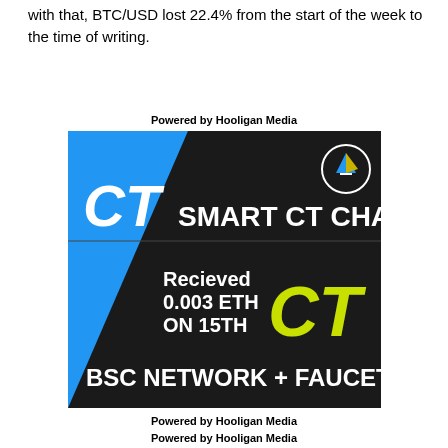with that, BTC/USD lost 22.4% from the start of the week to the time of writing.
Powered by Hooligan Media
[Figure (illustration): Smart CT Chain promotional image showing 'CT SMART CT CHAIN' header on dark background with blue triangle, circle logo, text 'Recieved 0.003 ETH ON 15TH', yellow-green 'CT' letters, and 'BSC NETWORK + FAUCET' at bottom]
Powered by Hooligan Media
Powered by Hooligan Media